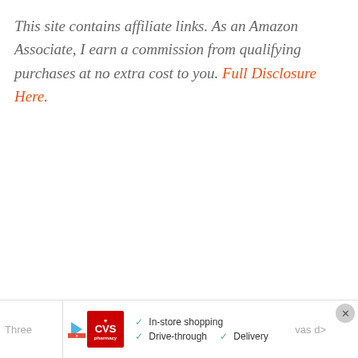This site contains affiliate links. As an Amazon Associate, I earn a commission from qualifying purchases at no extra cost to you. Full Disclosure Here.
[Figure (other): CVS Pharmacy advertisement banner showing in-store shopping, drive-through, and delivery options with a navigation arrow icon and close button]